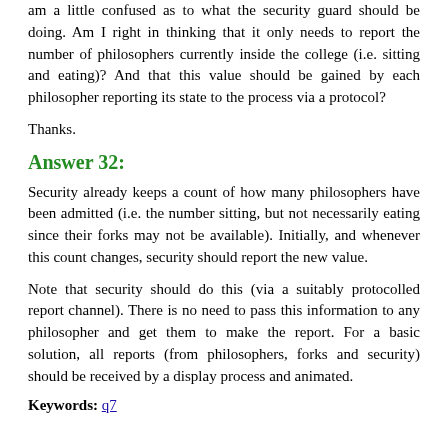am a little confused as to what the security guard should be doing. Am I right in thinking that it only needs to report the number of philosophers currently inside the college (i.e. sitting and eating)? And that this value should be gained by each philosopher reporting its state to the process via a protocol?
Thanks.
Answer 32:
Security already keeps a count of how many philosophers have been admitted (i.e. the number sitting, but not necessarily eating since their forks may not be available). Initially, and whenever this count changes, security should report the new value.
Note that security should do this (via a suitably protocolled report channel). There is no need to pass this information to any philosopher and get them to make the report. For a basic solution, all reports (from philosophers, forks and security) should be received by a display process and animated.
Keywords: q7